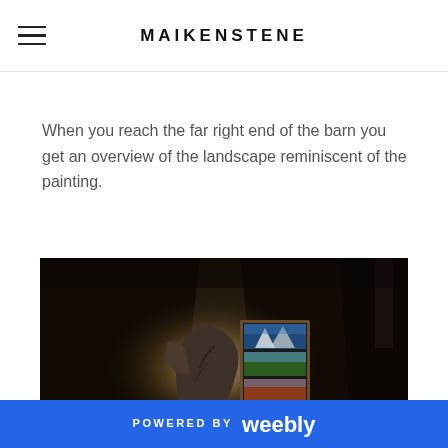MAIKENSTENE
When you reach the far right end of the barn you get an overview of the landscape reminiscent of the painting.
[Figure (photo): Dark interior barn scene with a spotlight illuminating a sculptural figure next to a framed Yosemite poster, against a dark background.]
POWERED BY Weebly